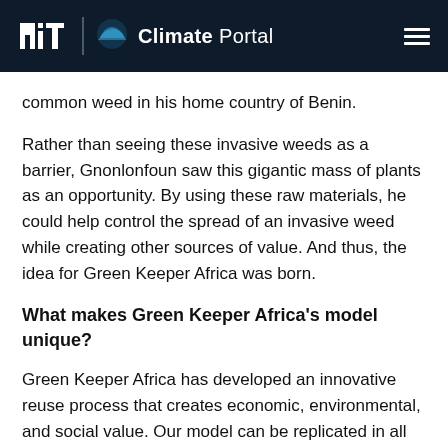MIT Climate Portal
common weed in his home country of Benin.
Rather than seeing these invasive weeds as a barrier, Gnonlonfoun saw this gigantic mass of plants as an opportunity. By using these raw materials, he could help control the spread of an invasive weed while creating other sources of value. And thus, the idea for Green Keeper Africa was born.
What makes Green Keeper Africa's model unique?
Green Keeper Africa has developed an innovative reuse process that creates economic, environmental, and social value. Our model can be replicated in all African countries.
We create a 100 percent plant-based fiber that absorbs